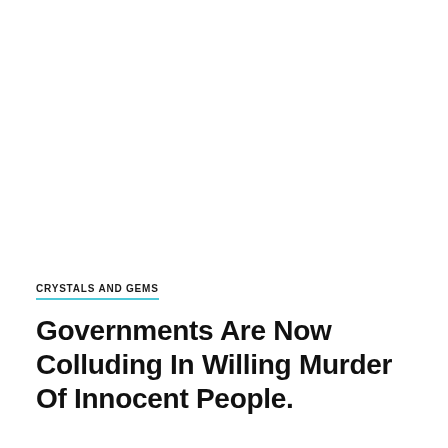CRYSTALS AND GEMS
Governments Are Now Colluding In Willing Murder Of Innocent People.